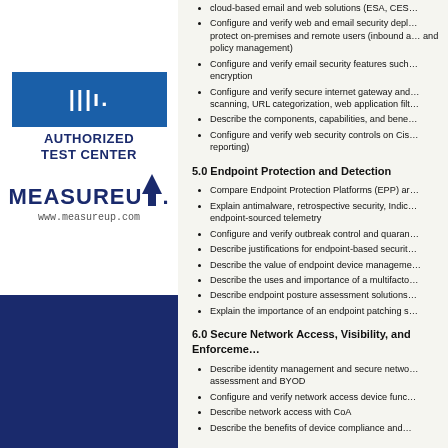[Figure (logo): Cisco Authorized Test Center logo with MeasureUp branding and www.measureup.com URL]
cloud-based email and web solutions (ESA, CES…
Configure and verify web and email security deployments to protect on-premises and remote users (inbound and outbound policy management)
Configure and verify email security features such as encryption
Configure and verify secure internet gateway and scanning, URL categorization, web application filtering
Describe the components, capabilities, and benefits…
Configure and verify web security controls on Cisco… reporting)
5.0 Endpoint Protection and Detection
Compare Endpoint Protection Platforms (EPP) and…
Explain antimalware, retrospective security, Indic… endpoint-sourced telemetry
Configure and verify outbreak control and quarantine…
Describe justifications for endpoint-based security…
Describe the value of endpoint device management…
Describe the uses and importance of a multifacto…
Describe endpoint posture assessment solutions…
Explain the importance of an endpoint patching s…
6.0 Secure Network Access, Visibility, and Enforcement
Describe identity management and secure network access assessment and BYOD
Configure and verify network access device functions…
Describe network access with CoA
Describe the benefits of device compliance and…